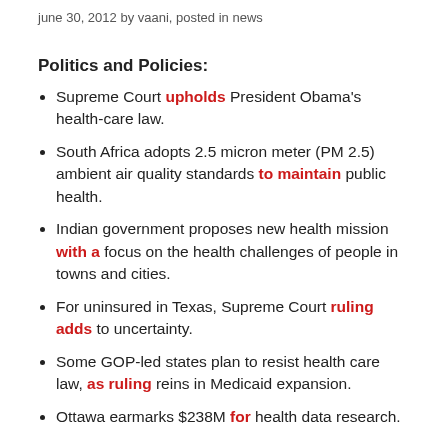june 30, 2012 by vaani, posted in news
Politics and Policies:
Supreme Court upholds President Obama's health-care law.
South Africa adopts 2.5 micron meter (PM 2.5) ambient air quality standards to maintain public health.
Indian government proposes new health mission with a focus on the health challenges of people in towns and cities.
For uninsured in Texas, Supreme Court ruling adds to uncertainty.
Some GOP-led states plan to resist health care law, as ruling reins in Medicaid expansion.
Ottawa earmarks $238M for health data research.